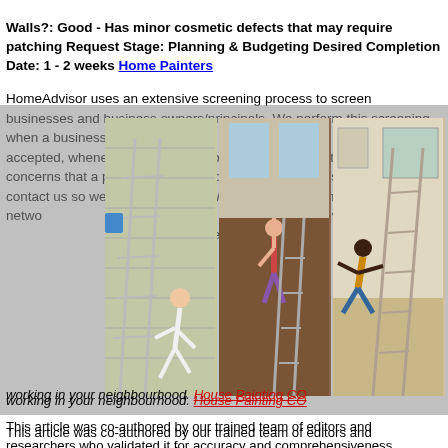Walls?: Good - Has minor cosmetic defects that may require patching Request Stage: Planning & Budgeting Desired Completion Date: 1 - 2 weeks Home Painters HomeAdvisor uses an extensive screening process to screen businesses and business owners/principals. We perform this screening when a business applies to join our network and, if the business is accepted, whenever concerns are brought to our attention. If you have concerns that a pro in our network doesn't meet these standards, please contact us so we can investigate. We're committed to maintaining a network ... who don't ... ved from o...
[Figure (photo): Three side-by-side photos showing people in humorous/fail situations on ladders against house exteriors (siding). Left: person falling off ladder against white siding. Center: person reaching up to window on brick house. Right: person falling off ladder indoors.]
In add... friends... who has had pa... lls. Call o... reco... ses are in... acqua... s working in your neighbourhood. House Painting CO This article was co-authored by our trained team of editors and researchers who validated it for accuracy and comprehensiveness. wikiHow's Content Management Team carefully monitors the work from our editorial staff to ensure that each article is backed by trusted